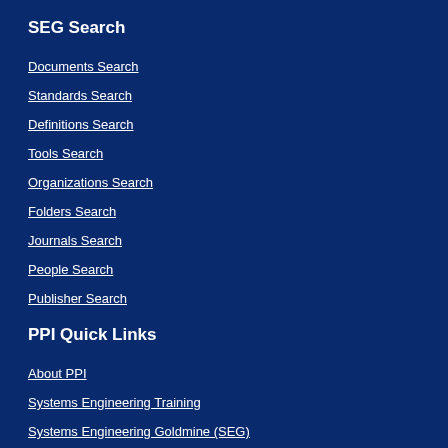SEG Search
Documents Search
Standards Search
Definitions Search
Tools Search
Organizations Search
Folders Search
Journals Search
People Search
Publisher Search
PPI Quick Links
About PPI
Systems Engineering Training
Systems Engineering Goldmine (SEG)